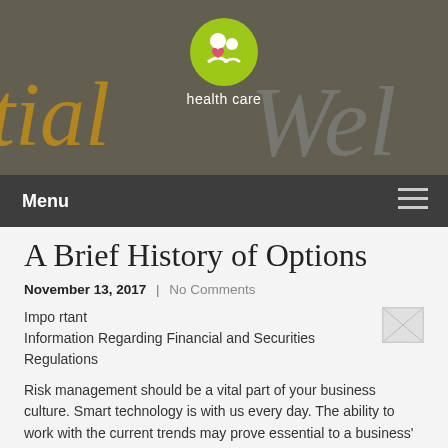[Figure (illustration): Website header banner with cursive yellow/gold text on a dark muted background. A green circular logo with a heart and person icon is centered at the top, with 'health care' text below it.]
Menu
A Brief History of Options
November 13, 2017  |  No Comments
[Figure (illustration): Small broken/placeholder image icon floated to the right]
Important Information Regarding Financial and Securities Regulations
Risk management should be a vital part of your business culture. Smart technology is with us every day. The ability to work with the current trends may prove essential to a business' success regardless of its size. It helps businesses in creating better strategies as well as in decision making.